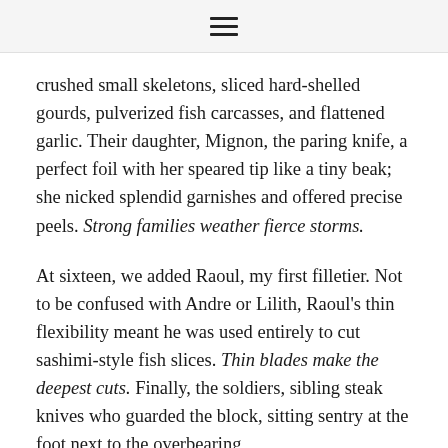≡
crushed small skeletons, sliced hard-shelled gourds, pulverized fish carcasses, and flattened garlic. Their daughter, Mignon, the paring knife, a perfect foil with her speared tip like a tiny beak; she nicked splendid garnishes and offered precise peels. Strong families weather fierce storms.
At sixteen, we added Raoul, my first filletier. Not to be confused with Andre or Lilith, Raoul's thin flexibility meant he was used entirely to cut sashimi-style fish slices. Thin blades make the deepest cuts. Finally, the soldiers, sibling steak knives who guarded the block, sitting sentry at the foot next to the overbearing